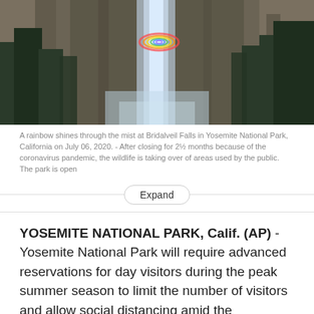[Figure (photo): A rainbow shines through the mist at Bridalveil Falls in Yosemite National Park, with tall rocky cliffs and pine trees surrounding a colorful waterfall.]
A rainbow shines through the mist at Bridalveil Falls in Yosemite National Park, California on July 06, 2020. - After closing for 2½ months because of the coronavirus pandemic, the wildlife is taking over of areas used by the public. The park is open
Expand
YOSEMITE NATIONAL PARK, Calif. (AP) - Yosemite National Park will require advanced reservations for day visitors during the peak summer season to limit the number of visitors and allow social distancing amid the pandemic.
Under the new rules, advance reservations will be